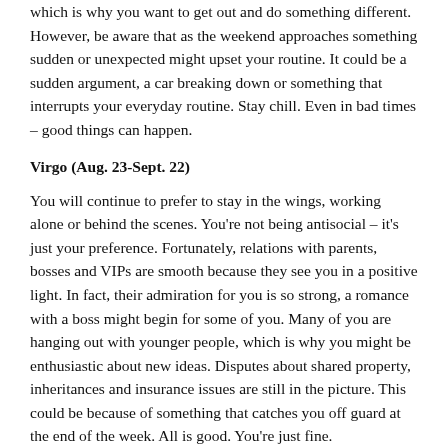which is why you want to get out and do something different. However, be aware that as the weekend approaches something sudden or unexpected might upset your routine. It could be a sudden argument, a car breaking down or something that interrupts your everyday routine. Stay chill. Even in bad times – good things can happen.
Virgo (Aug. 23-Sept. 22)
You will continue to prefer to stay in the wings, working alone or behind the scenes. You're not being antisocial – it's just your preference. Fortunately, relations with parents, bosses and VIPs are smooth because they see you in a positive light. In fact, their admiration for you is so strong, a romance with a boss might begin for some of you. Many of you are hanging out with younger people, which is why you might be enthusiastic about new ideas. Disputes about shared property, inheritances and insurance issues are still in the picture. This could be because of something that catches you off guard at the end of the week. All is good. You're just fine.